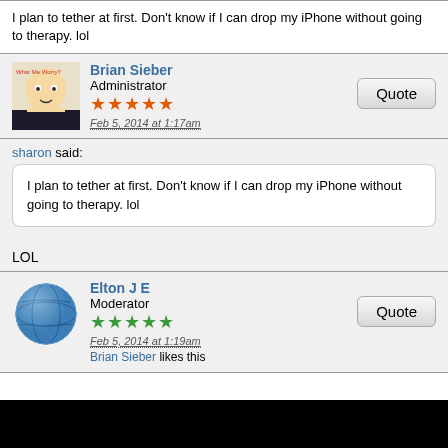I plan to tether at first. Don't know if I can drop my iPhone without going to therapy. lol
Brian Sieber
Administrator
★★★★★
Feb 5, 2014 at 1:17am
sharon said:
I plan to tether at first. Don't know if I can drop my iPhone without going to therapy. lol
LOL
Elton J E
Moderator
★★★★★
Feb 5, 2014 at 1:19am
Brian Sieber likes this